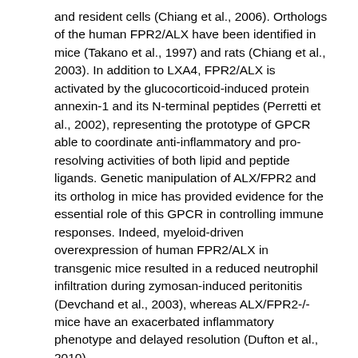and resident cells (Chiang et al., 2006). Orthologs of the human FPR2/ALX have been identified in mice (Takano et al., 1997) and rats (Chiang et al., 2003). In addition to LXA4, FPR2/ALX is activated by the glucocorticoid-induced protein annexin-1 and its N-terminal peptides (Perretti et al., 2002), representing the prototype of GPCR able to coordinate anti-inflammatory and pro-resolving activities of both lipid and peptide ligands. Genetic manipulation of ALX/FPR2 and its ortholog in mice has provided evidence for the essential role of this GPCR in controlling immune responses. Indeed, myeloid-driven overexpression of human FPR2/ALX in transgenic mice resulted in a reduced neutrophil infiltration during zymosan-induced peritonitis (Devchand et al., 2003), whereas ALX/FPR2-/- mice have an exacerbated inflammatory phenotype and delayed resolution (Dufton et al., 2010).
More strikingly, ATL and FPR2/ALX expression levels dictate both the magnitude and duration of acute inflammation in humans (Morris et al., 2010). Hence, mechanisms that regulate this expression are of wide